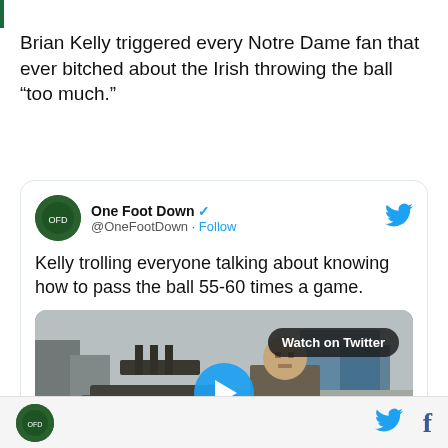Brian Kelly triggered every Notre Dame fan that ever bitched about the Irish throwing the ball “too much.”
[Figure (screenshot): Embedded tweet from @OneFootDown with text: 'Kelly trolling everyone talking about knowing how to pass the ball 55-60 times a game.' with a video thumbnail showing a man in military clothing near a military vehicle with a 'Watch on Twitter' button and a play button overlay.]
One Foot Down logo, Twitter icon, Facebook icon